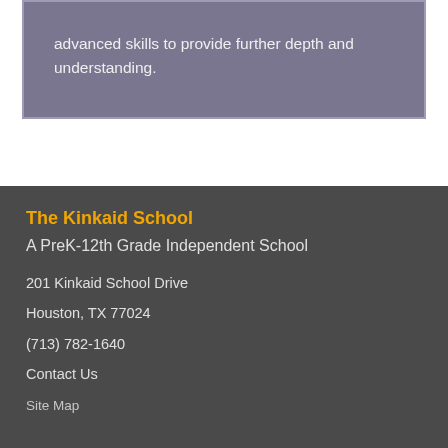advanced skills to provide further depth and understanding.
The Kinkaid School
A PreK-12th Grade Independent School
201 Kinkaid School Drive
Houston, TX 77024
(713) 782-1640
Contact Us
Site Map